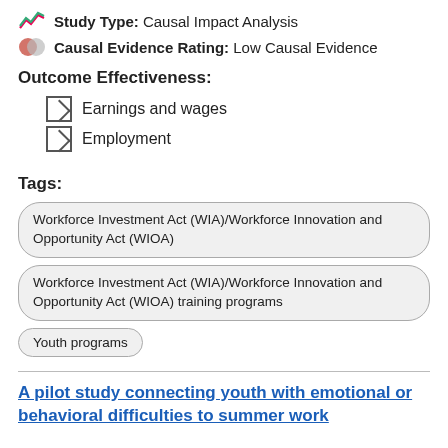Study Type: Causal Impact Analysis
Causal Evidence Rating: Low Causal Evidence
Outcome Effectiveness:
Earnings and wages
Employment
Tags:
Workforce Investment Act (WIA)/Workforce Innovation and Opportunity Act (WIOA)
Workforce Investment Act (WIA)/Workforce Innovation and Opportunity Act (WIOA) training programs
Youth programs
A pilot study connecting youth with emotional or behavioral difficulties to summer work